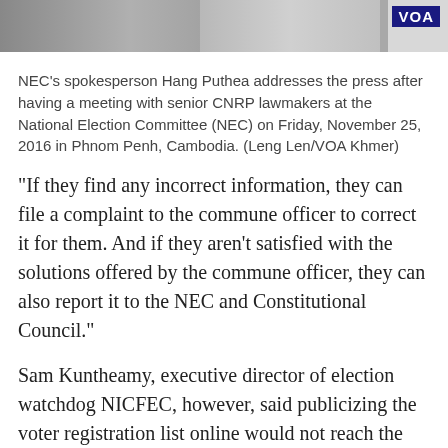[Figure (photo): Photo strip showing a press conference scene with VOA logo badge in top right corner]
NEC’s spokesperson Hang Puthea addresses the press after having a meeting with senior CNRP lawmakers at the National Election Committee (NEC) on Friday, November 25, 2016 in Phnom Penh, Cambodia. (Leng Len/VOA Khmer)
“If they find any incorrect information, they can file a complaint to the commune officer to correct it for them. And if they aren’t satisfied with the solutions offered by the commune officer, they can also report it to the NEC and Constitutional Council.”
Sam Kuntheamy, executive director of election watchdog NICFEC, however, said publicizing the voter registration list online would not reach the wider public unless it went “viral”.
“It’s very important to make the announcement go